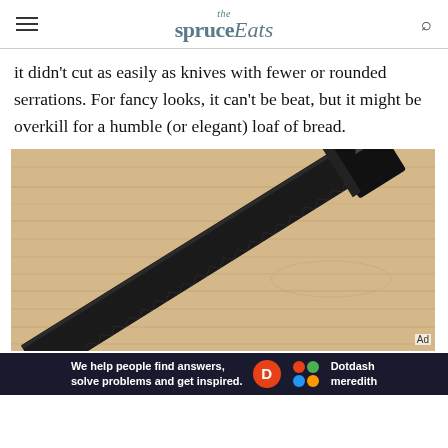the spruce Eats
it didn't cut as easily as knives with fewer or rounded serrations. For fancy looks, it can't be beat, but it might be overkill for a humble (or elegant) loaf of bread.
[Figure (photo): A black serrated bread knife resting diagonally on a wooden cutting board, viewed from above. The knife has a black blade with serrations along the edge and a black handle with a triangular logo.]
We help people find answers, solve problems and get inspired. Dotdash meredith